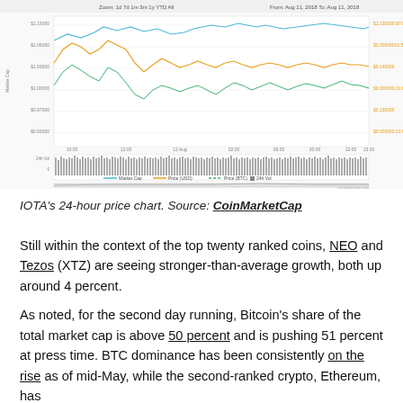[Figure (continuous-plot): IOTA's 24-hour price chart from CoinMarketCap showing Market Cap, Price (USD), Price (BTC), and 24h Vol lines over a time range from approximately Aug 11, 2018 to Aug 11, 2018. The top panel shows three overlapping line series (blue, orange, teal) with y-axes for market cap and price. A bar chart of 24h volume is shown below. A smaller overview/range chart appears at the bottom.]
IOTA's 24-hour price chart. Source: CoinMarketCap
Still within the context of the top twenty ranked coins, NEO and Tezos (XTZ) are seeing stronger-than-average growth, both up around 4 percent.
As noted, for the second day running, Bitcoin's share of the total market cap is above 50 percent and is pushing 51 percent at press time. BTC dominance has been consistently on the rise as of mid-May, while the second-ranked crypto, Ethereum, has